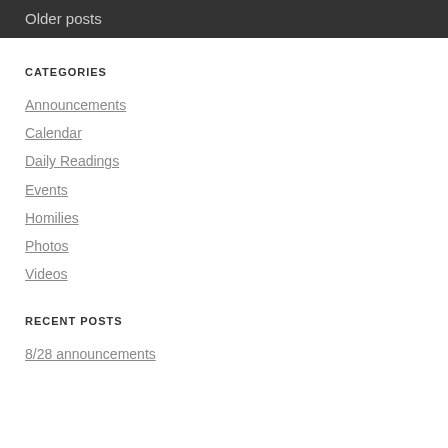Older posts
CATEGORIES
Announcements
Calendar
Daily Readings
Events
Homilies
Photos
Videos
RECENT POSTS
8/28 announcements